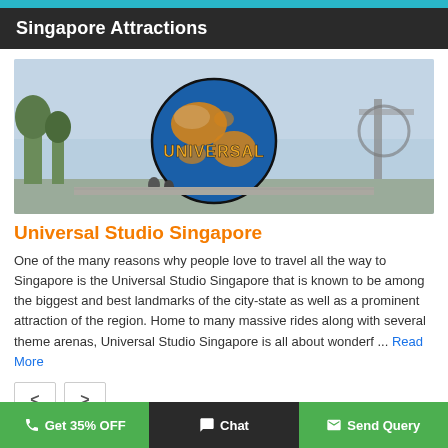Singapore Attractions
[Figure (photo): Universal Studios Singapore globe landmark with golden UNIVERSAL lettering on a large blue and gold globe structure against a cloudy sky]
Universal Studio Singapore
One of the many reasons why people love to travel all the way to Singapore is the Universal Studio Singapore that is known to be among the biggest and best landmarks of the city-state as well as a prominent attraction of the region. Home to many massive rides along with several theme arenas, Universal Studio Singapore is all about wonderf ... Read More
Get 35% OFF   Chat   Send Query